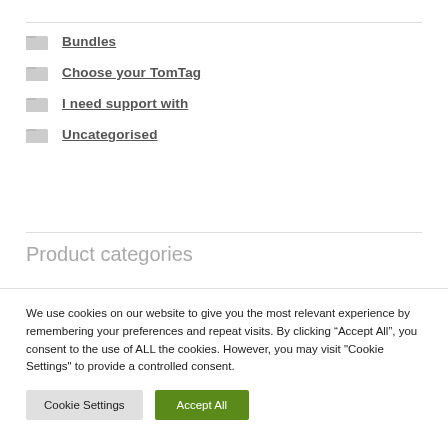Bundles
Choose your TomTag
I need support with
Uncategorised
Product categories
We use cookies on our website to give you the most relevant experience by remembering your preferences and repeat visits. By clicking “Accept All”, you consent to the use of ALL the cookies. However, you may visit "Cookie Settings" to provide a controlled consent.
Cookie Settings   Accept All